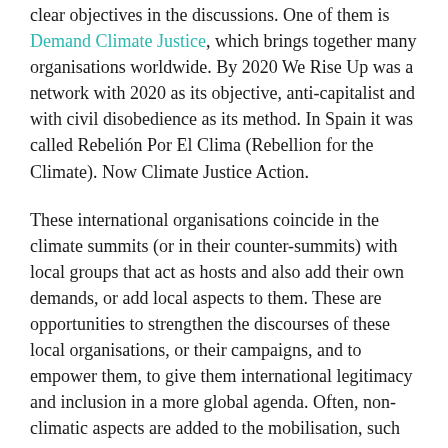clear objectives in the discussions. One of them is Demand Climate Justice, which brings together many organisations worldwide. By 2020 We Rise Up was a network with 2020 as its objective, anti-capitalist and with civil disobedience as its method. In Spain it was called Rebelión Por El Clima (Rebellion for the Climate). Now Climate Justice Action.
These international organisations coincide in the climate summits (or in their counter-summits) with local groups that act as hosts and also add their own demands, or add local aspects to them. These are opportunities to strengthen the discourses of these local organisations, or their campaigns, and to empower them, to give them international legitimacy and inclusion in a more global agenda. Often, non-climatic aspects are added to the mobilisation, such as local demands that have a